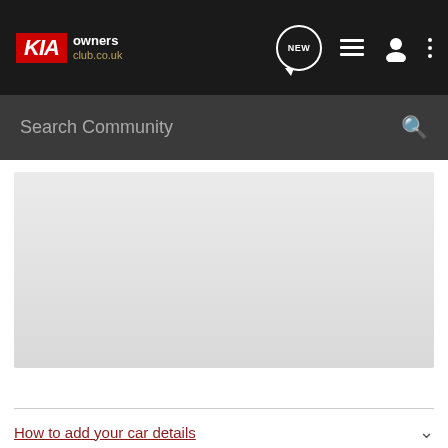KIA owners club.co.uk
Search Community
[Figure (screenshot): Grey placeholder content area representing a forum post or image on KIA Owners Club website]
How to add your car details
How to PM another user